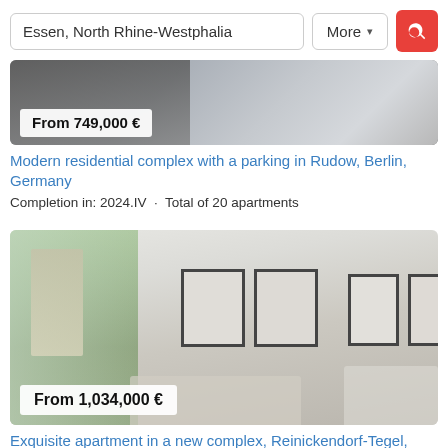Essen, North Rhine-Westphalia
More
[Figure (photo): Exterior photo of a modern residential complex building with glass and dark facades]
From 749,000 €
Modern residential complex with a parking in Rudow, Berlin, Germany
Completion in: 2024.IV  ·  Total of 20 apartments
[Figure (photo): Interior photo of an exquisite apartment living room with white walls, large windows, plants, framed artwork, and modern furniture]
From 1,034,000 €
Exquisite apartment in a new complex, Reinickendorf-Tegel, Berlin, Germany